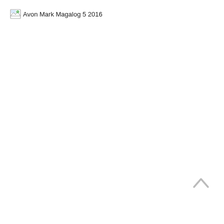[Figure (other): Broken image placeholder with alt text 'Avon Mark Magalog 5 2016' and a small broken-image icon in the top-left corner of the page. The rest of the page is blank white. A scroll-up chevron arrow icon appears near the bottom-right.]